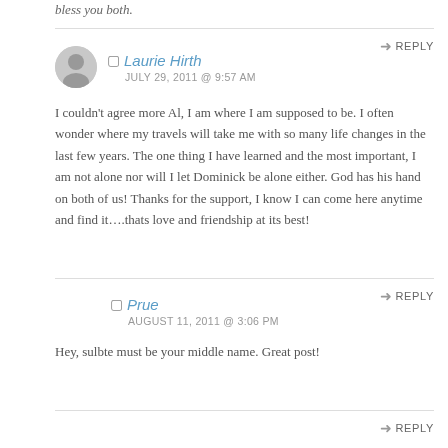bless you both.
Laurie Hirth
JULY 29, 2011 @ 9:57 AM
I couldn't agree more Al, I am where I am supposed to be. I often wonder where my travels will take me with so many life changes in the last few years. The one thing I have learned and the most important, I am not alone nor will I let Dominick be alone either. God has his hand on both of us! Thanks for the support, I know I can come here anytime and find it….thats love and friendship at its best!
Prue
AUGUST 11, 2011 @ 3:06 PM
Hey, sulbte must be your middle name. Great post!